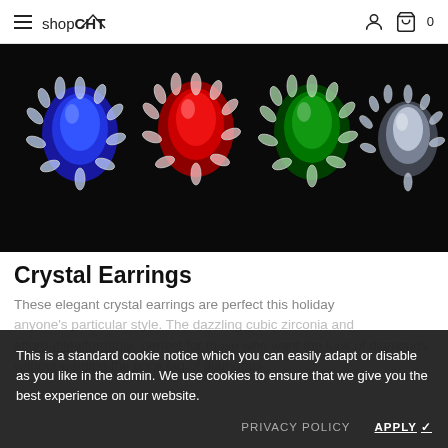shopCHT
[Figure (photo): Four ornate crystal earrings with large teardrop gemstones (blue, red, green, and clear/white) surrounded by silver marquise-cut crystal halos, photographed on a dark black background.]
Crystal Earrings
These elegant crystal earrings are perfect this holiday
This is a standard cookie notice which you can easily adapt or disable as you like in the admin. We use cookies to ensure that we give you the best experience on our website.
anyone's particular style. The dazzling cubic zirconia and affordable, perfect for those who want the look of diamonds without wanting the price tag of diamonds.